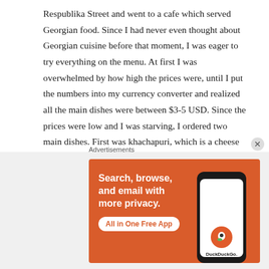Respublika Street and went to a cafe which served Georgian food.  Since I had never even thought about Georgian cuisine before that moment, I was eager to try everything on the menu.  At first I was overwhelmed by how high the prices were, until I put the numbers into my currency converter and realized all the main dishes were between $3-5 USD.  Since the prices were low and I was starving, I ordered two main dishes.  First was khachapuri, which is a cheese filled and topped flatbread that is like something between breadsticks and cheese pizza.  The second was khinkhali, which are meat and broth filled dumplings that are apparently the most famous food from Georgia.  I ordered the restaurant special version which was a combination of beef and horse meat.  Everything was absolutely delicious but I
Advertisements
[Figure (other): DuckDuckGo advertisement banner showing 'Search, browse, and email with more privacy. All in One Free App' with a phone displaying the DuckDuckGo app logo]